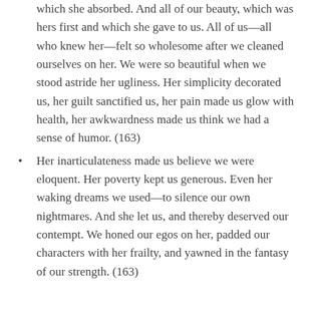which she absorbed. And all of our beauty, which was hers first and which she gave to us. All of us—all who knew her—felt so wholesome after we cleaned ourselves on her. We were so beautiful when we stood astride her ugliness. Her simplicity decorated us, her guilt sanctified us, her pain made us glow with health, her awkwardness made us think we had a sense of humor. (163)
Her inarticulateness made us believe we were eloquent. Her poverty kept us generous. Even her waking dreams we used—to silence our own nightmares. And she let us, and thereby deserved our contempt. We honed our egos on her, padded our characters with her frailty, and yawned in the fantasy of our strength. (163)